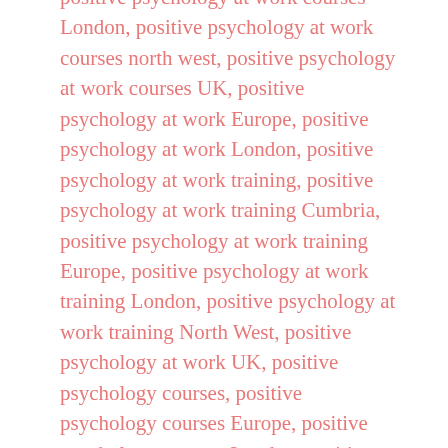positive psychology at work courses London, positive psychology at work courses north west, positive psychology at work courses UK, positive psychology at work Europe, positive psychology at work London, positive psychology at work training, positive psychology at work training Cumbria, positive psychology at work training Europe, positive psychology at work training London, positive psychology at work training North West, positive psychology at work UK, positive psychology courses, positive psychology courses Europe, positive psychology courses London, positive psychology courses north west, positive psychology courses UK, stress management and resilience training, stress management and resilience training Cumbria, stress management and resilience training Europe, stress management and resilience training London, stress management and resilience training north west, stress management and resilience